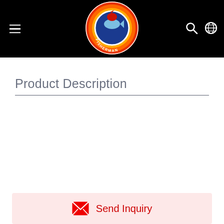Fisherman logo header with navigation
Product Description
[Figure (logo): Fisherman brand circular logo with fish imagery, red/blue/orange colors on black header background]
Send Inquiry